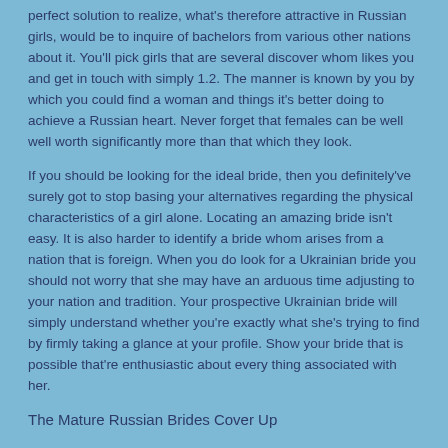perfect solution to realize, what's therefore attractive in Russian girls, would be to inquire of bachelors from various other nations about it. You'll pick girls that are several discover whom likes you and get in touch with simply 1.2. The manner is known by you by which you could find a woman and things it's better doing to achieve a Russian heart. Never forget that females can be well well worth significantly more than that which they look.
If you should be looking for the ideal bride, then you definitely've surely got to stop basing your alternatives regarding the physical characteristics of a girl alone. Locating an amazing bride isn't easy. It is also harder to identify a bride whom arises from a nation that is foreign. When you do look for a Ukrainian bride you should not worry that she may have an arduous time adjusting to your nation and tradition. Your prospective Ukrainian bride will simply understand whether you're exactly what she's trying to find by firmly taking a glance at your profile. Show your bride that is possible that're enthusiastic about every thing associated with her.
The Mature Russian Brides Cover Up